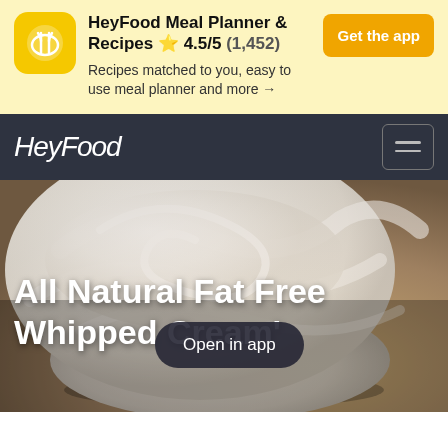[Figure (screenshot): App store banner with HeyFood Meal Planner & Recipes app icon (yellow rounded square with fork and spoon), app name, rating 4.5/5 (1,452), description text, and Get the app button]
HeyFood Meal Planner & Recipes ⭐ 4.5/5 (1,452)
Recipes matched to you, easy to use meal planner and more →
HeyFood
[Figure (photo): Close-up photo of a white bowl filled with white whipped cream, placed on a wooden surface]
All Natural Fat Free Whipped Cream'
Open in app